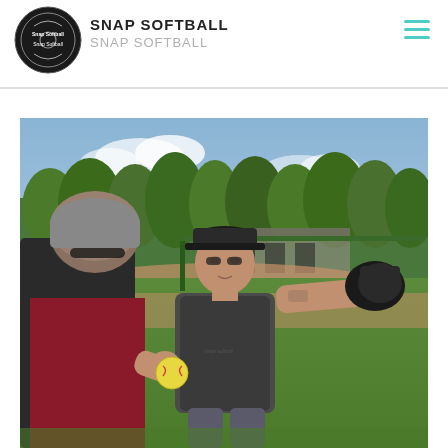SNAP SOFTBALL
SNAP SOFTBALL
[Figure (photo): A softball coach in a dark cap and grey t-shirt demonstrating a pitching motion on a softball field, holding a yellow softball in one hand and a glove in the other. A student is visible in the foreground from behind. Trees, a dugout, and a green fence are visible in the background.]